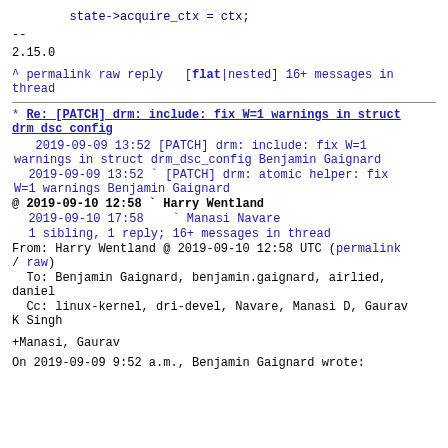state->acquire_ctx = ctx;
--
2.15.0
^ permalink raw reply  [flat|nested] 16+ messages in thread
* Re: [PATCH] drm: include: fix W=1 warnings in struct drm_dsc_config
2019-09-09 13:52 [PATCH] drm: include: fix W=1 warnings in struct drm_dsc_config Benjamin Gaignard
  2019-09-09 13:52 ` [PATCH] drm: atomic helper: fix W=1 warnings Benjamin Gaignard
@ 2019-09-10 12:58 ` Harry Wentland
  2019-09-10 17:58   ` Manasi Navare
  1 sibling, 1 reply; 16+ messages in thread
From: Harry Wentland @ 2019-09-10 12:58 UTC (permalink / raw)
  To: Benjamin Gaignard, benjamin.gaignard, airlied, daniel
  Cc: linux-kernel, dri-devel, Navare, Manasi D, Gaurav K Singh
+Manasi, Gaurav
On 2019-09-09 9:52 a.m., Benjamin Gaignard wrote: